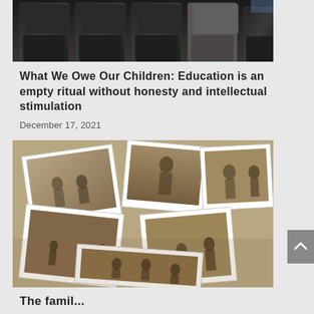[Figure (photo): Top portion of a photo showing the backs of dark-colored chairs/wheelchairs in a row]
What We Owe Our Children: Education is an empty ritual without honesty and intellectual stimulation
December 17, 2021
[Figure (photo): A collection of scattered vintage sepia-toned photographs spread on a surface, showing old family photos]
The famil...